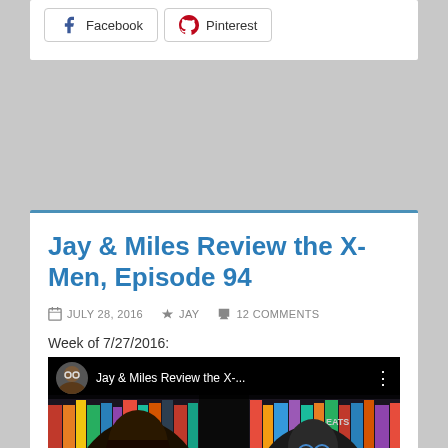[Figure (screenshot): Social share buttons showing Facebook and Pinterest buttons with icons]
Jay & Miles Review the X-Men, Episode 94
JULY 28, 2016   JAY   12 COMMENTS
Week of 7/27/2016:
[Figure (screenshot): YouTube video thumbnail showing two people in front of a bookshelf with comic books. Video title reads Jay & Miles Review the X-...]